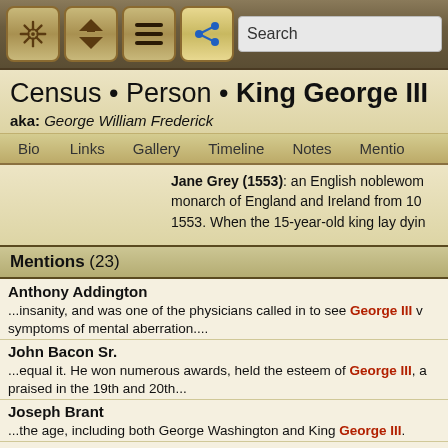[Figure (screenshot): App toolbar with navigation icons: ship wheel, home/up, menu, share buttons, and a search bar]
Census • Person • King George III
aka: George William Frederick
Bio   Links   Gallery   Timeline   Notes   Mentions
Jane Grey (1553): an English noblewoman monarch of England and Ireland from 10 1553. When the 15-year-old king lay dying
Mentions (23)
Anthony Addington — ...insanity, and was one of the physicians called in to see George III w symptoms of mental aberration....
John Bacon Sr. — ...equal it. He won numerous awards, held the esteem of George III, a praised in the 19th and 20th...
Joseph Brant — ...the age, including both George Washington and King George III.
Charlotte of Mecklenburg-Strelitz — the wife of King George III. She served as Queen of Great Britain an